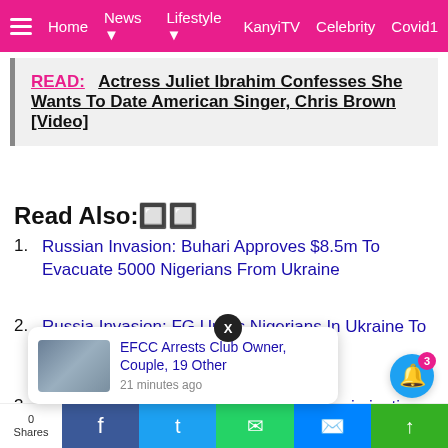☰  Home  News ▾  Lifestyle ▾  KanyiTV  Celebrity  Covid1
READ:  Actress Juliet Ibrahim Confesses She Wants To Date American Singer, Chris Brown [Video]
Read Also:🔲🔲
Russian Invasion: Buhari Approves $8.5m To Evacuate 5000 Nigerians From Ukraine
Russia Invasion: FG Urges Nigerians In Ukraine To Be Vigilant And Protect Themselves
Russia Invasion: Buhari Condemns Discrimination Against Fleeing Nigerians In Ukraine
EFCC Arrests Club Owner, Couple, 19 Other
21 minutes ago
raine-Based
0 Shares  [Facebook] [Twitter] [WhatsApp] [Messenger] [Share]